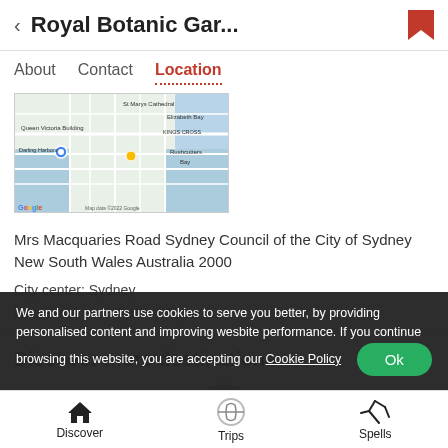Royal Botanic Gar...
About  Contact  Location
[Figure (map): Google Maps screenshot showing central Sydney area including Queen Victoria Building, Darling Harbour, Kings Cross, Elizabeth Bay, Rushcutters Bay, St Marys Cathedral]
Mrs Macquaries Road Sydney Council of the City of Sydney New South Wales Australia 2000
City center: Sydney
Nearest airport: Sydney Airport
Discover more destinations
[Figure (photo): Circular thumbnail photo of Sydney city skyline at dusk/sunset]
We and our partners use cookies to serve you better, by providing personalised content and improving wesbite performance. If you continue browsing this website, you are accepting our Cookie Policy  Ok
Discover  Trips  Spells